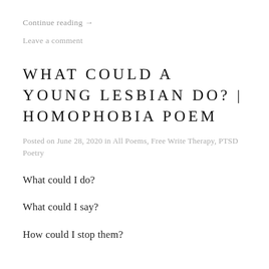Continue reading →
Leave a comment
WHAT COULD A YOUNG LESBIAN DO? | HOMOPHOBIA POEM
Posted on June 28, 2020 in All Poems, Free Write Therapy, PTSD Poetry
What could I do?
What could I say?
How could I stop them?